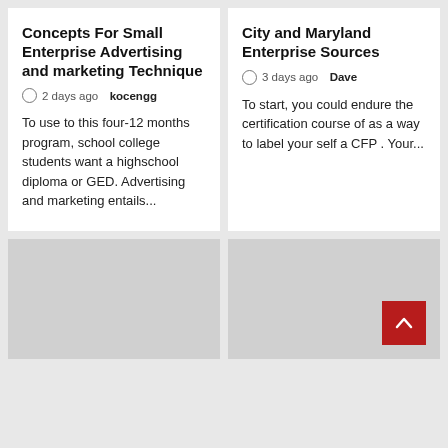Concepts For Small Enterprise Advertising and marketing Technique
2 days ago  kocengg
To use to this four-12 months program, school college students want a highschool diploma or GED. Advertising and marketing entails...
City and Maryland Enterprise Sources
3 days ago  Dave
To start, you could endure the certification course of as a way to label your self a CFP . Your...
[Figure (photo): Gray placeholder image block, bottom left]
[Figure (photo): Gray placeholder image block, bottom right]